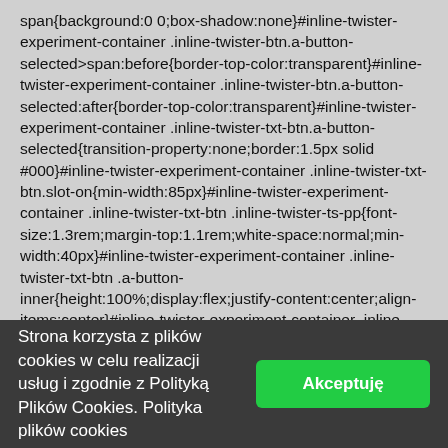span{background:0 0;box-shadow:none}#inline-twister-experiment-container .inline-twister-btn.a-button-selected>span:before{border-top-color:transparent}#inline-twister-experiment-container .inline-twister-btn.a-button-selected:after{border-top-color:transparent}#inline-twister-experiment-container .inline-twister-txt-btn.a-button-selected{transition-property:none;border:1.5px solid #000}#inline-twister-experiment-container .inline-twister-txt-btn.slot-on{min-width:85px}#inline-twister-experiment-container .inline-twister-txt-btn .inline-twister-ts-pp{font-size:1.3rem;margin-top:1.1rem;white-space:normal;min-width:40px}#inline-twister-experiment-container .inline-twister-txt-btn .a-button-inner{height:100%;display:flex;justify-content:center;align-items:center}#inline-twister-experiment-container .inline-twister-txt-btn input{padding-bottom:1px}#inline-twister-experiment-container .inline-twister-txt-btn .inline-twister-text>span{margin-bottom:-4px}#inline-twister-experiment-container .inline-twister-txt-btn .inline-twister-truncate-text{overflow:hidden;display:-webkit-box;-
Strona korzysta z plików cookies w celu realizacji usług i zgodnie z Polityką Plików Cookies. Polityka plików cookies
Akceptuję